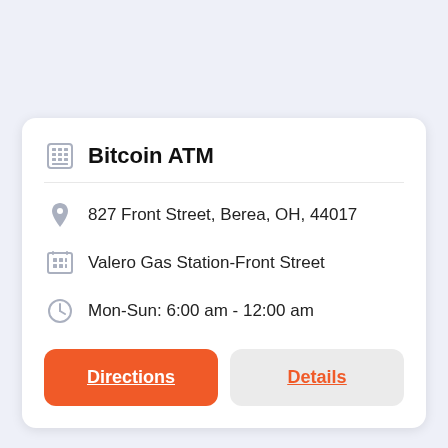Bitcoin ATM
827 Front Street, Berea, OH, 44017
Valero Gas Station-Front Street
Mon-Sun: 6:00 am - 12:00 am
Directions
Details